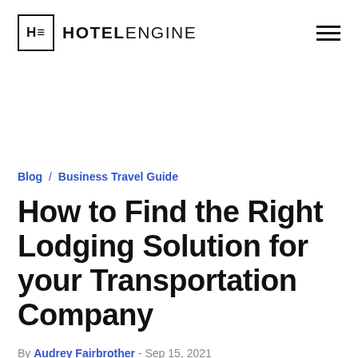HOTELENGINE
Blog / Business Travel Guide
How to Find the Right Lodging Solution for your Transportation Company
By Audrey Fairbrother - Sep 15, 2021